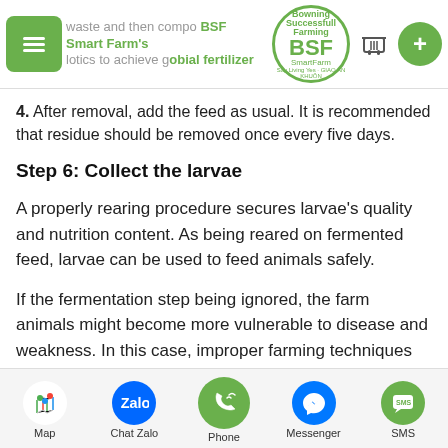waste and then compo... BSF Smart Farm's ...lotics to achieve g...obial fertilizer
4. After removal, add the feed as usual. It is recommended that residue should be removed once every five days.
Step 6: Collect the larvae
A properly rearing procedure secures larvae's quality and nutrition content. As being reared on fermented feed, larvae can be used to feed animals safely.
If the fermentation step being ignored, the farm animals might become more vulnerable to disease and weakness. In this case, improper farming techniques and foodborne pathogens, rather than the larvae themselves, shall be...
Map | Chat Zalo | Phone | Messenger | SMS